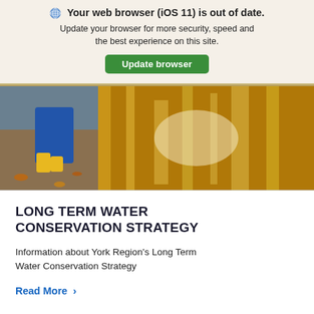🌐 Your web browser (iOS 11) is out of date. Update your browser for more security, speed and the best experience on this site. Update browser
[Figure (photo): A child in blue rain pants and yellow rain boots standing near a large puddle reflecting golden autumn trees]
LONG TERM WATER CONSERVATION STRATEGY
Information about York Region's Long Term Water Conservation Strategy
Read More >